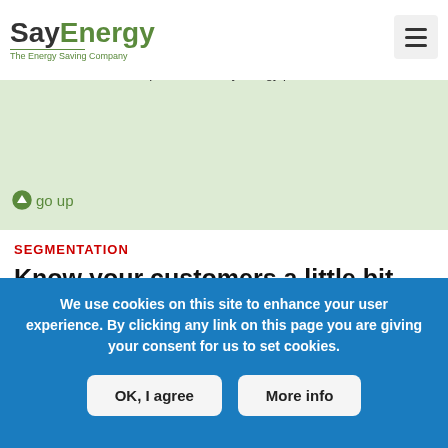SayEnergy – The Energy Saving Company
Use ... based on previously gathered information. Producers and services are listed in the system come from service providers using SayEnergy platform and/or their partners or SayEnergy partners.
⊕ go up
SEGMENTATION
Know your customers a little bit better. Use multi-dimensional data for dynamic segmentation. Align your marketing and sales increasing their effectiveness.
Data collected on SayEnergy platform can be used to precisely target messages and match the offering to customer needs. The system enables multi-dimensional data filtering, with online updates of filtered segments sizes in multiple variants. Created
We use cookies on this site to enhance your user experience. By clicking any link on this page you are giving your consent for us to set cookies.
OK, I agree    More info